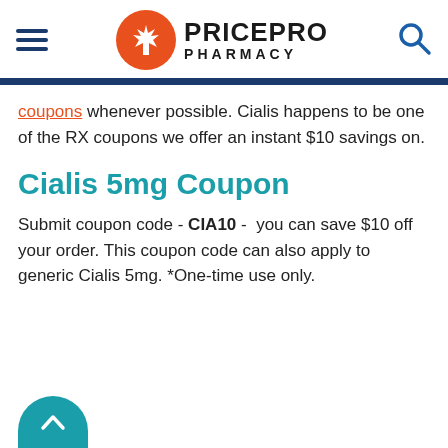PricePro Pharmacy
coupons whenever possible. Cialis happens to be one of the RX coupons we offer an instant $10 savings on.
Cialis 5mg Coupon
Submit coupon code - CIA10 - you can save $10 off your order. This coupon code can also apply to generic Cialis 5mg. *One-time use only.